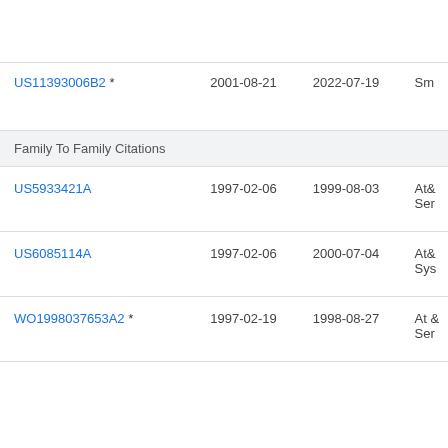| Patent Number | Filed | Published | Assignee |
| --- | --- | --- | --- |
| US11393006B2 * | 2001-08-21 | 2022-07-19 | Sm... |
| Family To Family Citations |  |  |  |
| US5933421A | 1997-02-06 | 1999-08-03 | At&...
Ser... |
| US6085114A | 1997-02-06 | 2000-07-04 | At&...
Sys... |
| WO1998037653A2 * | 1997-02-19 | 1998-08-27 | At &...
Ser... |